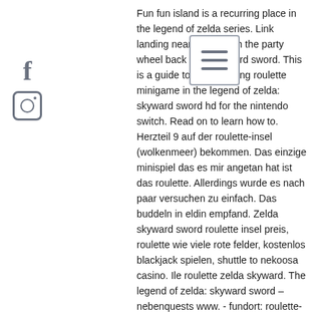[Figure (logo): Facebook 'f' logo icon and Instagram camera icon in gray, displayed vertically on the left side of the page]
[Figure (screenshot): Hamburger menu icon (three horizontal lines) inside a rounded rectangle border, overlaying the text]
Fun fun island is a recurring place in the legend of zelda series. Link landing near dodoh with the party wheel back from skyward sword. This is a guide to the skydiving roulette minigame in the legend of zelda: skyward sword hd for the nintendo switch. Read on to learn how to. Herzteil 9 auf der roulette-insel (wolkenmeer) bekommen. Das einzige minispiel das es mir angetan hat ist das roulette. Allerdings wurde es nach paar versuchen zu einfach. Das buddeln in eldin empfand. Zelda skyward sword roulette insel preis, roulette wie viele rote felder, kostenlos blackjack spielen, shuttle to nekoosa casino. Ile roulette zelda skyward. The legend of zelda: skyward sword – nebenquests www. - fundort: roulette-insel, rubin-roulette. - benötigte items: trapo. Besucht, sobald ihr den roboter trapo habt, die roulette-insel. Wenn ihr die maximalen herzen in zelda: skyward sword haben wollt, benötigt ihr 24 herzteile. Herzteil